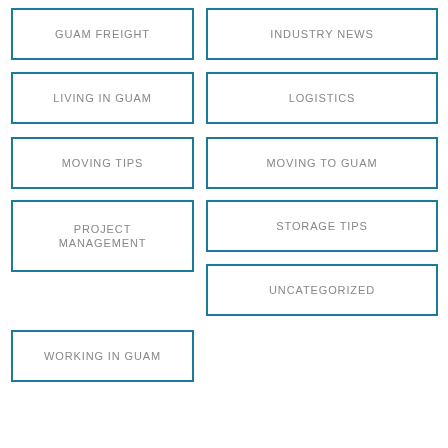GUAM FREIGHT
INDUSTRY NEWS
LIVING IN GUAM
LOGISTICS
MOVING TIPS
MOVING TO GUAM
PROJECT MANAGEMENT
STORAGE TIPS
UNCATEGORIZED
WORKING IN GUAM